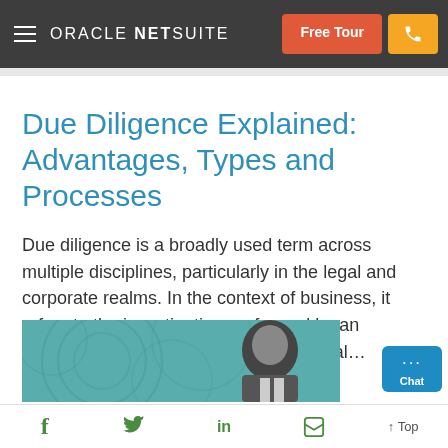ORACLE NETSUITE  Free Tour  [phone]
Due Diligence Explained: Advantages, Types and Processes
Due diligence is a broadly used term across multiple disciplines, particularly in the legal and corporate realms. In the context of business, it refers to the investigation performed by an interested party, including venture capital…
[Figure (photo): Partial photo showing a person in a suit against a teal/blue patterned background]
f  [twitter bird]  in  [flipboard]  ↑ Top